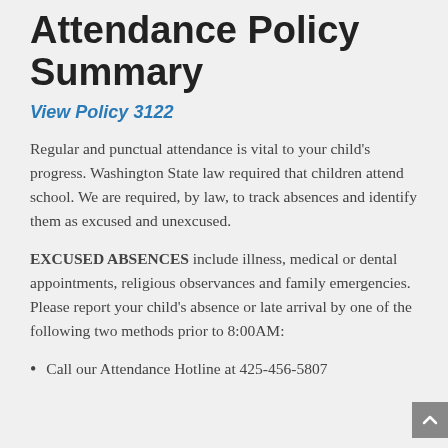Attendance Policy Summary
View Policy 3122
Regular and punctual attendance is vital to your child's progress. Washington State law required that children attend school. We are required, by law, to track absences and identify them as excused and unexcused.
EXCUSED ABSENCES include illness, medical or dental appointments, religious observances and family emergencies. Please report your child's absence or late arrival by one of the following two methods prior to 8:00AM:
Call our Attendance Hotline at 425-456-5807